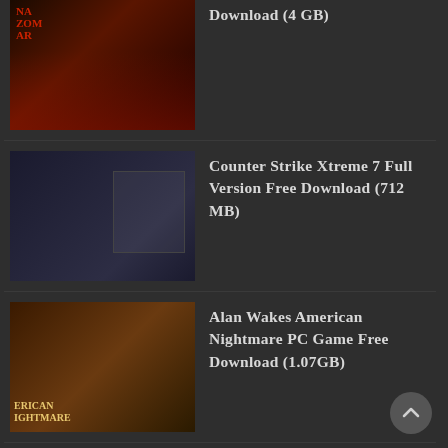Download (4 GB)
Counter Strike Xtreme 7 Full Version Free Download (712 MB)
Alan Wakes American Nightmare PC Game Free Download (1.07GB)
Batman Arkham City Full Version PC Game Free Download
Call of Juarez Gunslinger Free Download Full Version Single Link